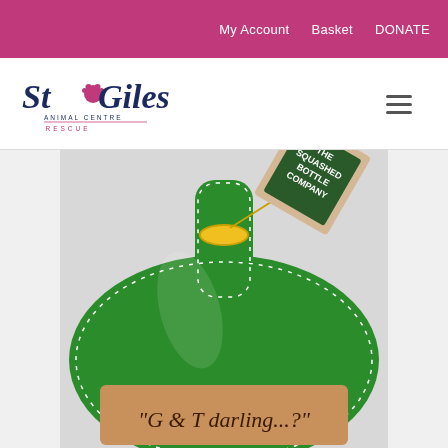My Account  Basket  DONATE
[Figure (logo): St Giles Animal Centre Rescue logo with paw print]
[Figure (photo): A squashed flat gin bottle dog toy from The Squashed Bottle Company, green colored with a luggage tag label, yellow ring, and brown label reading 'G & T darling...?']